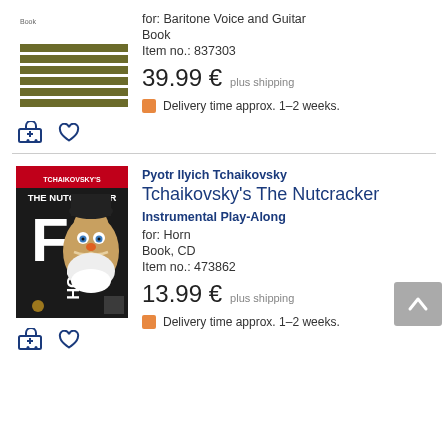[Figure (illustration): Book cover with olive green horizontal stripes on white background, small text 'Book' at top]
for: Baritone Voice and Guitar
Book
Item no.: 837303
39.99 €  plus shipping
Delivery time approx. 1–2 weeks.
[Figure (photo): Book cover: Tchaikovsky's The Nutcracker F Horn, red and black cover with nutcracker figure]
Pyotr Ilyich Tchaikovsky
Tchaikovsky's The Nutcracker
Instrumental Play-Along
for: Horn
Book, CD
Item no.: 473862
13.99 €  plus shipping
Delivery time approx. 1–2 weeks.